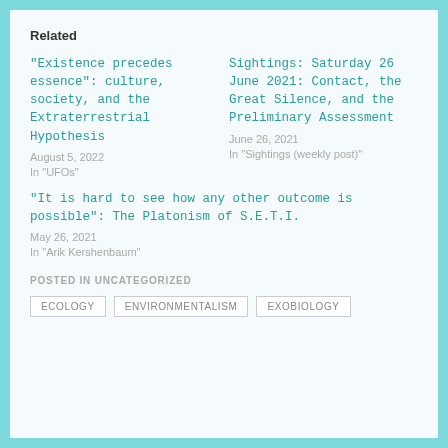Related
“Existence precedes essence”: culture, society, and the Extraterrestrial Hypothesis
August 5, 2022
In "UFOs"
Sightings: Saturday 26 June 2021: Contact, the Great Silence, and the Preliminary Assessment
June 26, 2021
In "Sightings (weekly post)"
“It is hard to see how any other outcome is possible”: The Platonism of S.E.T.I.
May 26, 2021
In "Arik Kershenbaum"
POSTED IN UNCATEGORIZED
ECOLOGY
ENVIRONMENTALISM
EXOBIOLOGY